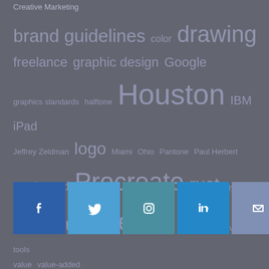Creative Marketing
[Figure (infographic): Tag cloud with terms of varying sizes: brand guidelines (large), color (small), drawing (large), freelance (medium), graphic design (medium), Google (medium), graphics standards (small), halftone (small), Houston (extra large), IBM (medium), iPad (medium), Jeffrey Zeldman (small), logo (large), Miami (small), Ohio (small), Pantone (small), Paul Herbert (small), Paul Rand (medium), Procreate (extra large), rust (large), style (small), style guide (large), Texas (extra large), The Miami University (small), tools (small), value (small), value-added (small)]
[Figure (infographic): Social media icon buttons: Facebook (dark blue), Twitter (medium blue), Instagram (teal), LinkedIn (bright blue), Email (grey-blue)]